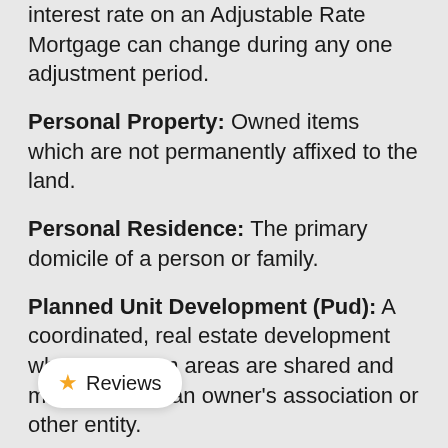interest rate on an Adjustable Rate Mortgage can change during any one adjustment period.
Personal Property: Owned items which are not permanently affixed to the land.
Personal Residence: The primary domicile of a person or family.
Planned Unit Development (Pud): A coordinated, real estate development where common areas are shared and maintained by an owner's association or other entity.
Plat: A plan or chart of a piece of land which lays out existing or planned streets, lots or other i...